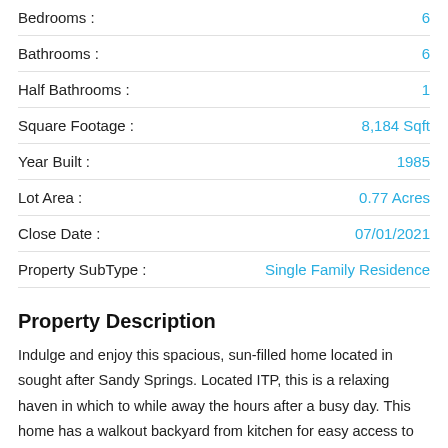| Property | Value |
| --- | --- |
| Bedrooms : | 6 |
| Bathrooms : | 6 |
| Half Bathrooms : | 1 |
| Square Footage : | 8,184 Sqft |
| Year Built : | 1985 |
| Lot Area : | 0.77 Acres |
| Close Date : | 07/01/2021 |
| Property SubType : | Single Family Residence |
Property Description
Indulge and enjoy this spacious, sun-filled home located in sought after Sandy Springs. Located ITP, this is a relaxing haven in which to while away the hours after a busy day. This home has a walkout backyard from kitchen for easy access to the pool, private spa and pool house. Level, fenced yard with ample deck space are a delight for entertaining family and friends. Vaulted great room with fireplace and lots of windows accentuate the view of the pool. Back yard is a sanctuary of nature with a gazebo and room for a fire